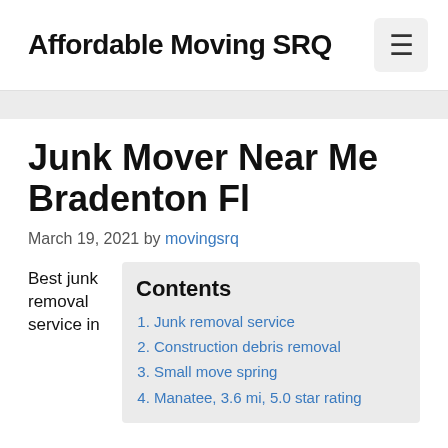Affordable Moving SRQ
Junk Mover Near Me Bradenton Fl
March 19, 2021 by movingsrq
Best junk removal service in
| Contents |
| --- |
| Junk removal service |
| Construction debris removal |
| Small move spring |
| Manatee, 3.6 mi, 5.0 star rating |